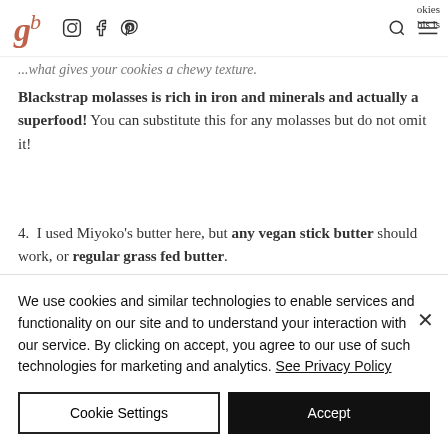gb logo, Instagram, Facebook, Pinterest icons, search, menu | cookies | this is
...what gives your cookies a chewy texture.
Blackstrap molasses is rich in iron and minerals and actually a superfood! You can substitute this for any molasses but do not omit it!
4. I used Miyoko's butter here, but any vegan stick butter should work, or regular grass fed butter.
We use cookies and similar technologies to enable services and functionality on our site and to understand your interaction with our service. By clicking on accept, you agree to our use of such technologies for marketing and analytics. See Privacy Policy
Cookie Settings | Accept